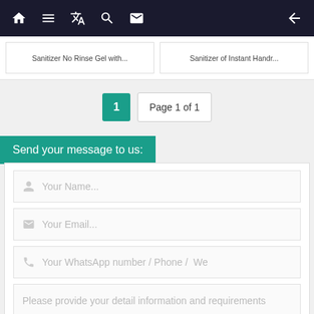Navigation bar with home, menu, translate, search, mail icons and back arrow
Sanitizer No Rinse Gel with... | Sanitizer of Instant Handr...
1  Page 1 of 1
Send your message to us:
Your Name...
Your Email...
Your WhatsApp number / Phone / We
Please provide your detail information and requirements

such as size, weight or port of destination so that we can